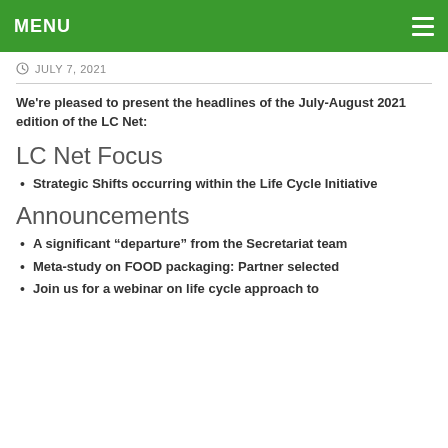MENU
JULY 7, 2021
We're pleased to present the headlines of the July-August 2021 edition of the LC Net:
LC Net Focus
Strategic Shifts occurring within the Life Cycle Initiative
Announcements
A significant “departure” from the Secretariat team
Meta-study on FOOD packaging: Partner selected
Join us for a webinar on life cycle approach to